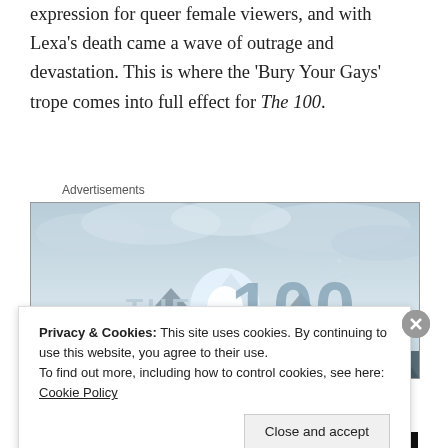expression for queer female viewers, and with Lexa’s death came a wave of outrage and devastation. This is where the ‘Bury Your Gays’ trope comes into full effect for The 100.
Advertisements
[Figure (photo): Promotional image for The 100 TV show, showing large stone/ice numerals '100' against a stormy sky with mountains in the background. Text reads 'THE 100'.]
Privacy & Cookies: This site uses cookies. By continuing to use this website, you agree to their use.
To find out more, including how to control cookies, see here: Cookie Policy
Close and accept